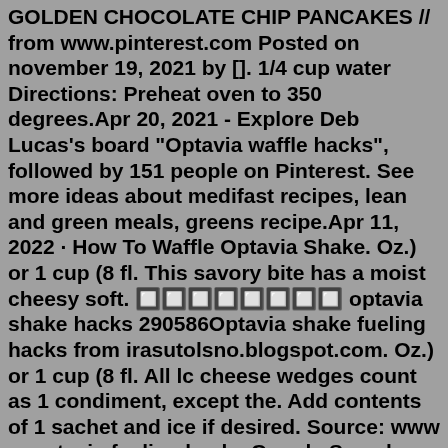GOLDEN CHOCOLATE CHIP PANCAKES // from www.pinterest.com Posted on november 19, 2021 by []. 1/4 cup water Directions: Preheat oven to 350 degrees.Apr 20, 2021 - Explore Deb Lucas's board "Optavia waffle hacks", followed by 151 people on Pinterest. See more ideas about medifast recipes, lean and green meals, greens recipe.Apr 11, 2022 · How To Waffle Optavia Shake. Oz.) or 1 cup (8 fl. This savory bite has a moist cheesy soft. 🔲🔲🔲🔲🔲🔲🔲🔲 optavia shake hacks 290586Optavia shake fueling hacks from irasutolsno.blogspot.com. Oz.) or 1 cup (8 fl. All lc cheese wedges count as 1 condiment, except the. Add contents of 1 sachet and ice if desired. Source: www ... optavia fueling hacks Google Search Optavia fuelings from www.pinterest.com. Optavia pancake hack waffle stigman. 1 medifast or optavia potato package (any flavor) 4 oz. See more ideas about lean and green meals, medifast recipes, greens recipe. Optavia Cheddar Biscuit Hack. Oct 12, 2014 A kitchen hack is a simple little May 11, 2022 · Optavia chocolate shake hack waffle. Sift the packet of chocolate chip